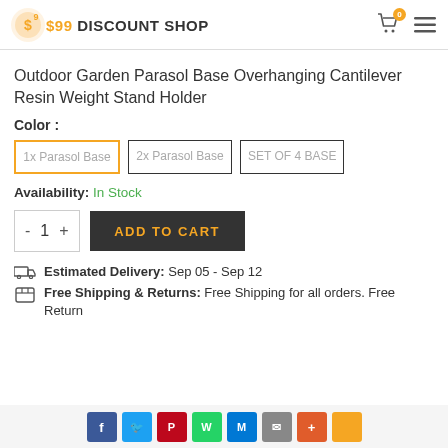$99 DISCOUNT SHOP
Outdoor Garden Parasol Base Overhanging Cantilever Resin Weight Stand Holder
Color :
1x Parasol Base | 2x Parasol Base | SET OF 4 BASE
Availability: In Stock
- 1 + ADD TO CART
Estimated Delivery: Sep 05 - Sep 12
Free Shipping & Returns: Free Shipping for all orders. Free Return